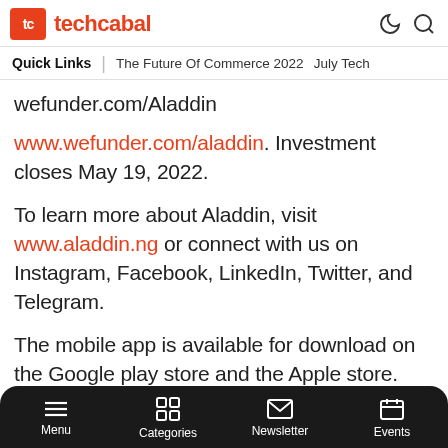techcabal
Quick Links | The Future Of Commerce 2022  July Tech
wefunder.com/Aladdin
www.wefunder.com/aladdin. Investment closes May 19, 2022.
To learn more about Aladdin, visit www.aladdin.ng or connect with us on Instagram, Facebook, LinkedIn, Twitter, and Telegram.
The mobile app is available for download on the Google play store and the Apple store.
Menu  Categories  Newsletter  Events